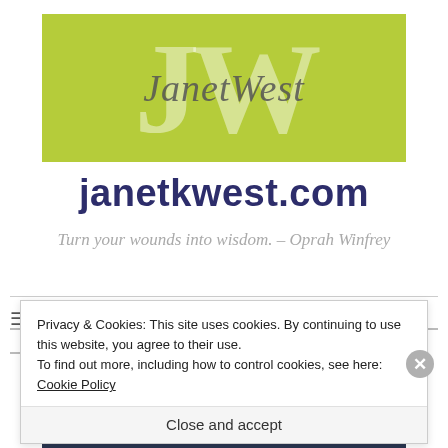[Figure (logo): JanetWest logo: lime green banner with large semi-transparent JW letters and italic cursive signature 'JanetWest' overlaid]
janetkwest.com
Turn your wounds into wisdom. – Oprah Winfrey
Privacy & Cookies: This site uses cookies. By continuing to use this website, you agree to their use.
To find out more, including how to control cookies, see here: Cookie Policy
Close and accept